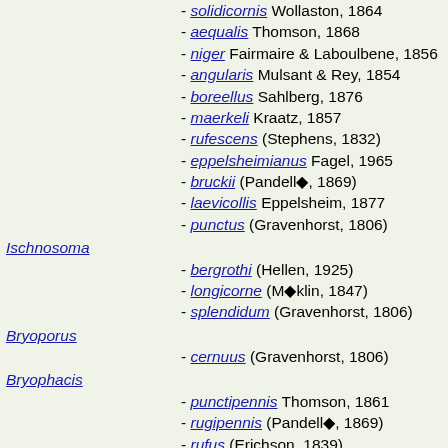- solidicornis Wollaston, 1864
- aequalis Thomson, 1868
- niger Fairmaire & Laboulbene, 1856
- angularis Mulsant & Rey, 1854
- boreellus Sahlberg, 1876
- maerkeli Kraatz, 1857
- rufescens (Stephens, 1832)
- eppelsheimianus Fagel, 1965
- bruckii (Pandellé, 1869)
- laevicollis Eppelsheim, 1877
- punctus (Gravenhorst, 1806)
Ischnosoma
- bergrothi (Hellen, 1925)
- longicorne (Mäklin, 1847)
- splendidum (Gravenhorst, 1806)
Bryoporus
- cernuus (Gravenhorst, 1806)
Bryophacis
- punctipennis Thomson, 1861
- rugipennis (Pandellé, 1869)
- rufus (Erichson, 1839)
- crassicornis (Mäklin, 1847)
Carphacis
- striatus (Olivier, 1794)